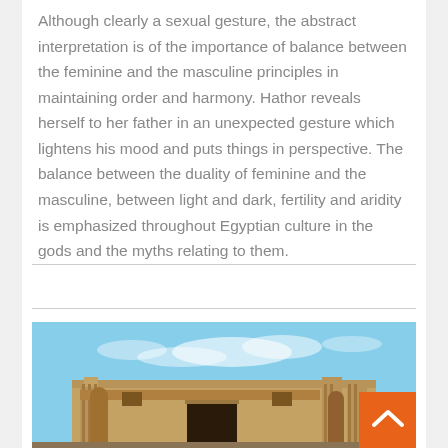Although clearly a sexual gesture, the abstract interpretation is of the importance of balance between the feminine and the masculine principles in maintaining order and harmony. Hathor reveals herself to her father in an unexpected gesture which lightens his mood and puts things in perspective. The balance between the duality of feminine and the masculine, between light and dark, fertility and aridity is emphasized throughout Egyptian culture in the gods and the myths relating to them.
[Figure (photo): Photograph of an ancient Egyptian temple facade with stone columns and architectural ruins against a blue sky. An orange scroll-to-top button is visible in the lower right corner.]